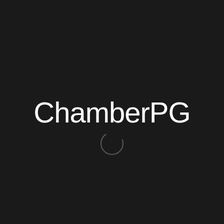[Figure (logo): ChamberPG logo: white rounded sans-serif text on dark background reading 'ChamberPG']
[Figure (other): Loading spinner: a thin dark gray circular ring, partially complete, suggesting a loading animation]